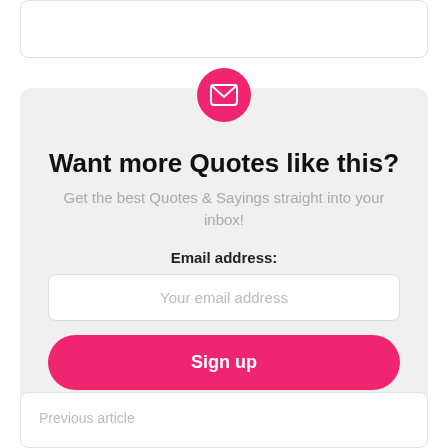[Figure (other): Top rounded rectangle box, empty, white background with light border]
[Figure (other): Pink circle with white envelope/email icon centered at top of signup card]
Want more Quotes like this?
Get the best Quotes & Sayings straight into your inbox!
Email address:
Your email address
Sign up
Don't worry, we don't spam
Previous article